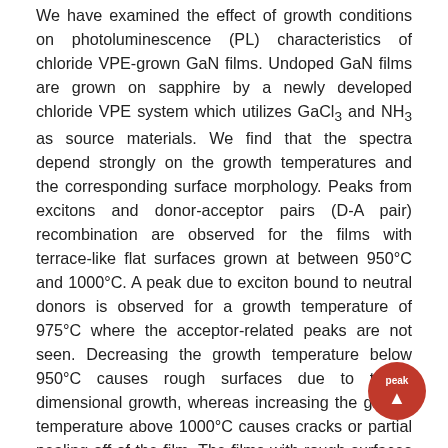We have examined the effect of growth conditions on photoluminescence (PL) characteristics of chloride VPE-grown GaN films. Undoped GaN films are grown on sapphire by a newly developed chloride VPE system which utilizes GaCl3 and NH3 as source materials. We find that the spectra depend strongly on the growth temperatures and the corresponding surface morphology. Peaks from excitons and donor-acceptor pairs (D-A pair) recombination are observed for the films with terrace-like flat surfaces grown at between 950°C and 1000°C. A peak due to exciton bound to neutral donors is observed for a growth temperature of 975°C where the acceptor-related peaks are not seen. Decreasing the growth temperature below 950°C causes rough surfaces due to three-dimensional growth, whereas increasing the growth temperature above 1000°C causes cracks or partial pealing off of the film. The films with rough surfaces or crystal failures show broad emission from deep acceptor levels. As a result, residual acceptors are eliminated in the very narrow range of the growth temperature around 975°C. It is also noted that an increase of the V/III ratio during the growth makes the line width of the band-edge peak narrower. The PL results show that a growth temperature around 975°C and high V/III ratio are essential to obtain better crystal quality and reduced concentration of residual acceptors.